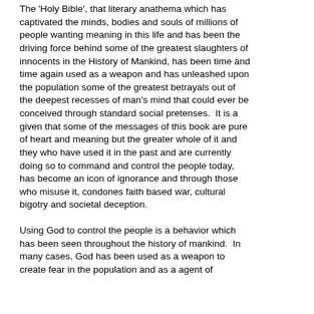The 'Holy Bible', that literary anathema which has captivated the minds, bodies and souls of millions of people wanting meaning in this life and has been the driving force behind some of the greatest slaughters of innocents in the History of Mankind, has been time and time again used as a weapon and has unleashed upon the population some of the greatest betrayals out of the deepest recesses of man's mind that could ever be conceived through standard social pretenses.  It is a given that some of the messages of this book are pure of heart and meaning but the greater whole of it and they who have used it in the past and are currently doing so to command and control the people today, has become an icon of ignorance and through those who misuse it, condones faith based war, cultural bigotry and societal deception.
Using God to control the people is a behavior which has been seen throughout the history of mankind.  In many cases, God has been used as a weapon to create fear in the population and as a agent of